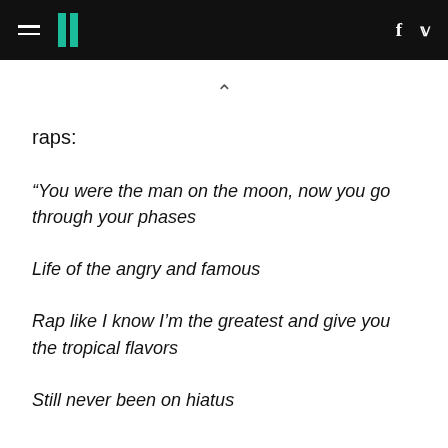HuffPost navigation and social icons
raps:
“You were the man on the moon, now you go through your phases

Life of the angry and famous

Rap like I know I’m the greatest and give you the tropical flavors

Still never been on hiatus